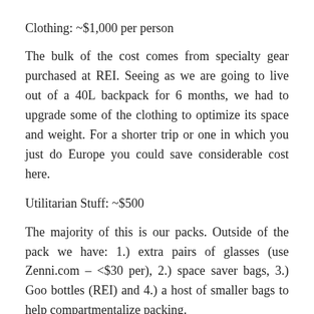Clothing: ~$1,000 per person
The bulk of the cost comes from specialty gear purchased at REI. Seeing as we are going to live out of a 40L backpack for 6 months, we had to upgrade some of the clothing to optimize its space and weight. For a shorter trip or one in which you just do Europe you could save considerable cost here.
Utilitarian Stuff: ~$500
The majority of this is our packs. Outside of the pack we have: 1.) extra pairs of glasses (use Zenni.com – <$30 per), 2.) space saver bags, 3.) Goo bottles (REI) and 4.) a host of smaller bags to help compartmentalize packing.
Recurring Expenses: ~$6,000 for the whole trip
Skype + Cell Phones